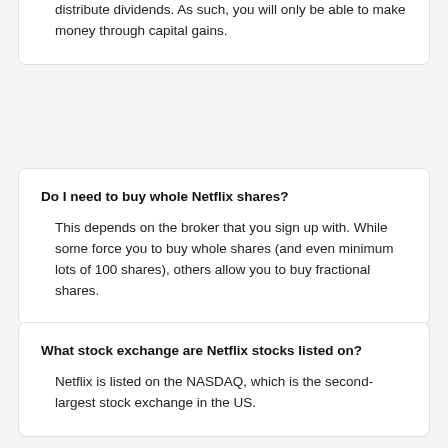distribute dividends. As such, you will only be able to make money through capital gains.
Do I need to buy whole Netflix shares?
This depends on the broker that you sign up with. While some force you to buy whole shares (and even minimum lots of 100 shares), others allow you to buy fractional shares.
What stock exchange are Netflix stocks listed on?
Netflix is listed on the NASDAQ, which is the second-largest stock exchange in the US.